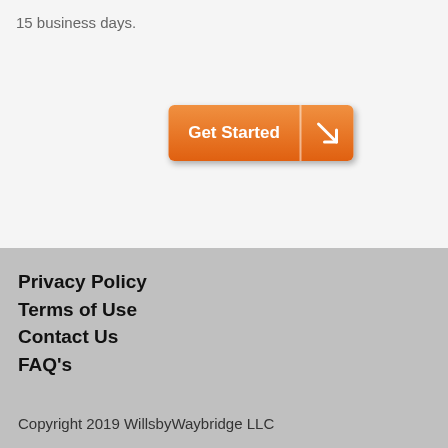15 business days.
[Figure (other): Orange 'Get Started' button with diagonal arrow icon]
Privacy Policy
Terms of Use
Contact Us
FAQ's
Copyright 2019 WillsbyWaybridge LLC